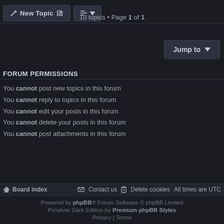New Topic | Sort | 10 topics • Page 1 of 1
Jump to
FORUM PERMISSIONS
You cannot post new topics in this forum
You cannot reply to topics in this forum
You cannot edit your posts in this forum
You cannot delete your posts in this forum
You cannot post attachments in this forum
Board index  Contact us  Delete cookies  All times are UTC
Powered by phpBB® Forum Software © phpBB Limited  Prosilver Dark Edition by Premium phpBB Styles  Privacy | Terms